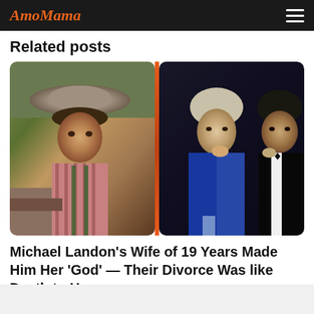AmoMama
Related posts
[Figure (photo): Two-panel composite photo: left panel shows a man in a wide-brim hat and striped shirt with suspenders leaning on a fence; right panel shows a woman with short blonde hair in a blue jacket and a dark-haired man in a tuxedo at what appears to be a social event. An orange-red vertical divider separates the two panels.]
Michael Landon's Wife of 19 Years Made Him Her 'God' — Their Divorce Was like Death to Her
March 10, 2022